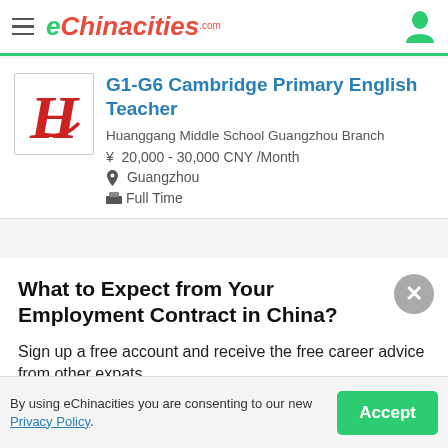eChinacities.com
G1-G6 Cambridge Primary English Teacher
Huanggang Middle School Guangzhou Branch
¥ 20,000 - 30,000 CNY /Month
Guangzhou
Full Time
What to Expect from Your Employment Contract in China?
Sign up a free account and receive the free career advice from other expats.
Sign up with Google
By using eChinacities you are consenting to our new Privacy Policy.